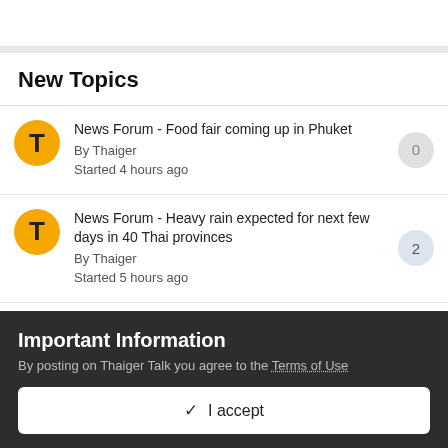New Topics
News Forum - Food fair coming up in Phuket
By Thaiger
Started 4 hours ago
News Forum - Heavy rain expected for next few days in 40 Thai provinces
By Thaiger
Started 5 hours ago
News Forum - [partial]
Important Information
By posting on Thaiger Talk you agree to the Terms of Use
✓  I accept